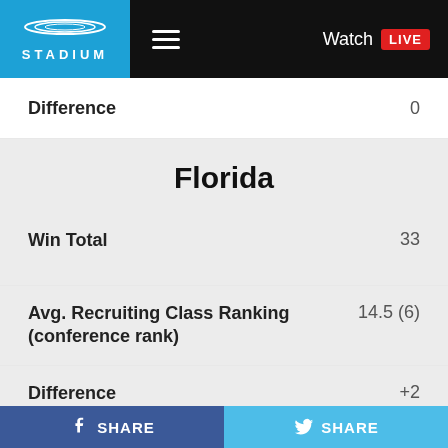Stadium | Watch LIVE
|  |  |
| --- | --- |
| Difference | 0 |
| Florida |  |
| Win Total | 33 |
| Avg. Recruiting Class Ranking (conference rank) | 14.5 (6) |
| Difference | +2 |
| Auburn |  |
| Win Total | 33 |
SHARE | SHARE